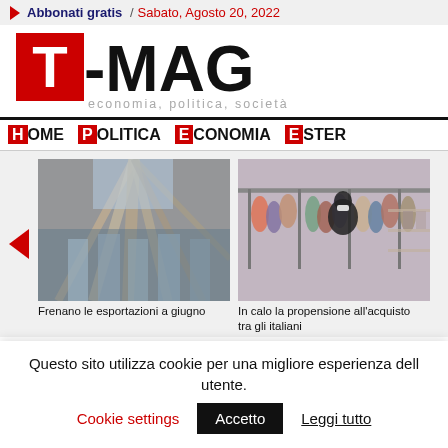Abbonati gratis / Sabato, Agosto 20, 2022
T-MAG economia, politica, società
HOME POLITICA ECONOMIA ESTER
[Figure (photo): Building exterior seen from below, geometric lines converging upward]
Frenano le esportazioni a giugno
[Figure (photo): Person shopping in a clothing store wearing a mask]
In calo la propensione all'acquisto tra gli italiani
Questo sito utilizza cookie per una migliore esperienza dell utente.
Cookie settings  Accetto  Leggi tutto